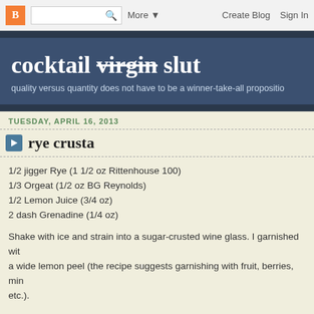B [search] More ▼   Create Blog   Sign In
cocktail virgin slut
quality versus quantity does not have to be a winner-take-all proposition
TUESDAY, APRIL 16, 2013
rye crusta
1/2 jigger Rye (1 1/2 oz Rittenhouse 100)
1/3 Orgeat (1/2 oz BG Reynolds)
1/2 Lemon Juice (3/4 oz)
2 dash Grenadine (1/4 oz)
Shake with ice and strain into a sugar-crusted wine glass. I garnished with a wide lemon peel (the recipe suggests garnishing with fruit, berries, mint, etc.).
Two Thursdays ago, the copy of Pioneers of Mixing at Elite Bars: 1903-1933 was still on the counter, so I began to flip through it again. There, I spotted a Rye Crusta that seemed different than the standard